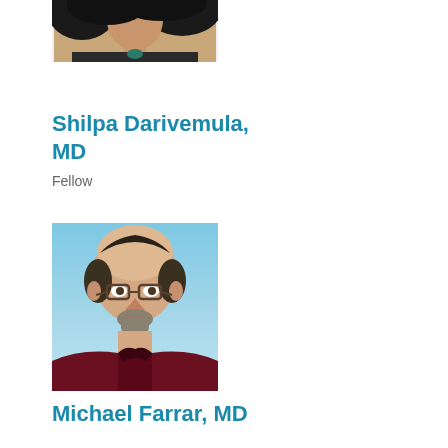[Figure (photo): Partial headshot of a woman with long dark hair, wearing a dark blazer, cropped at top]
Shilpa Darivemula, MD
Fellow
[Figure (photo): Headshot of a bald man with glasses and a goatee, wearing a dark red shirt, blue background]
Michael Farrar, MD